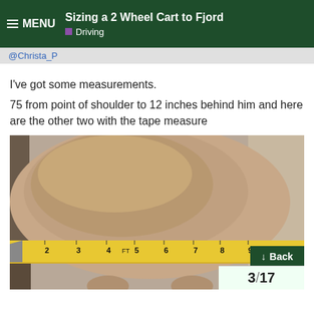≡ MENU  Sizing a 2 Wheel Cart to Fjord  ■ Driving
@Christa_P
I've got some measurements.
75 from point of shoulder to 12 inches behind him and here are the other two with the tape measure
[Figure (photo): Close-up photo of a horse's hindquarters with a yellow tape measure stretched horizontally across, showing measurements from approximately 1 to 15 feet.]
↓ Back
3 / 17